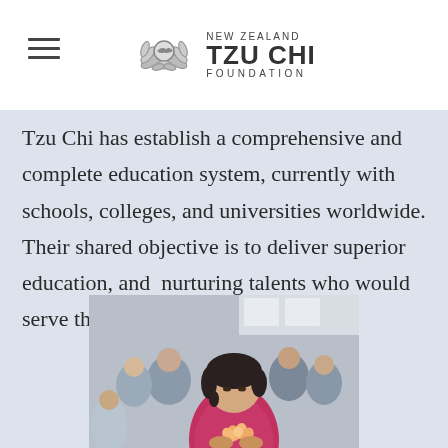NEW ZEALAND TZU CHI FOUNDATION
Tzu Chi has establish a comprehensive and complete education system, currently with schools, colleges, and universities worldwide. Their shared objective is to deliver superior education, and  nurturing talents who would serve the society with selfless love.
[Figure (photo): Children seated in a room holding flowers, with a young girl in a pink jacket in the foreground looking down at a flower she is holding.]